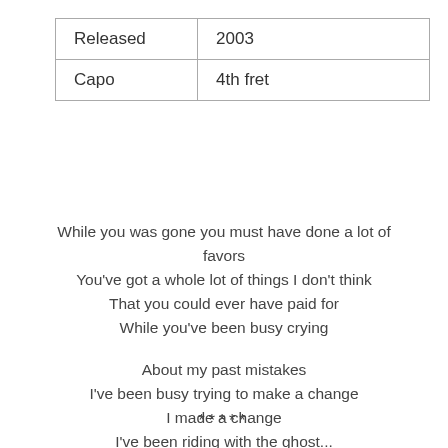| Released | 2003 |
| Capo | 4th fret |
While you was gone you must have done a lot of favors
You've got a whole lot of things I don't think
That you could ever have paid for
While you've been busy crying
About my past mistakes
I've been busy trying to make a change
I made a change
I've been riding with the ghost...
*****